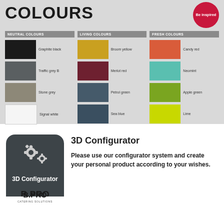COLOURS
[Figure (infographic): Colour palette chart showing three columns: Neutral Colours (Graphite black, Traffic grey B, Stone grey, Signal white), Living Colours (Broom yellow, Merlot red, Petrol green, Sea blue), Fresh Colours (Candy red, Neomint, Apple green, Lime)]
[Figure (logo): 3D Configurator logo with gear icons and B.PRO Catering Solutions branding on dark grey rounded rectangle background]
3D Configurator
Please use our configurator system and create your personal product according to your wishes.